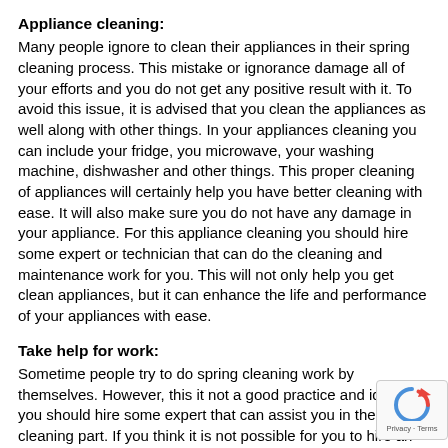Appliance cleaning:
Many people ignore to clean their appliances in their spring cleaning process. This mistake or ignorance damage all of your efforts and you do not get any positive result with it. To avoid this issue, it is advised that you clean the appliances as well along with other things. In your appliances cleaning you can include your fridge, you microwave, your washing machine, dishwasher and other things. This proper cleaning of appliances will certainly help you have better cleaning with ease. It will also make sure you do not have any damage in your appliance. For this appliance cleaning you should hire some expert or technician that can do the cleaning and maintenance work for you. This will not only help you get clean appliances, but it can enhance the life and performance of your appliances with ease.
Take help for work:
Sometime people try to do spring cleaning work by themselves. However, this it not a good practice and ideally you should hire some expert that can assist you in the cleaning part. If you think it is not possible for you to hire an expert then also you shall not mind taking help from your family members for cleaning work. If you would take their help for spring cleaning, then it will be a shared work among...